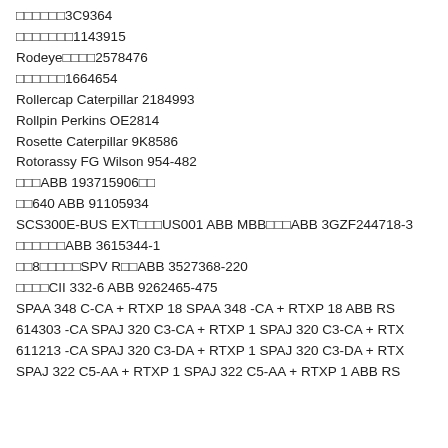□□□□□□3C9364
□□□□□□□1143915
Rodeye□□□□2578476
□□□□□□1664654
Rollercap Caterpillar 2184993
Rollpin Perkins OE2814
Rosette Caterpillar 9K8586
Rotorassy FG Wilson 954-482
□□□ABB 193715906□□
□□640 ABB 91105934
SCS300E-BUS EXT□□□US001 ABB MBB□□□ABB 3GZF244718-3
□□□□□□ABB 3615344-1
□□8□□□□□SPV R□□ABB 3527368-220
□□□□CII 332-6 ABB 9262465-475
SPAA 348 C-CA + RTXP 18 SPAA 348 -CA + RTXP 18 ABB RS
614303 -CA SPAJ 320 C3-CA + RTXP 1 SPAJ 320 C3-CA + RTX
611213 -CA SPAJ 320 C3-DA + RTXP 1 SPAJ 320 C3-DA + RTX
SPAJ 322 C5-AA + RTXP 1 SPAJ 322 C5-AA + RTXP 1 ABB RS